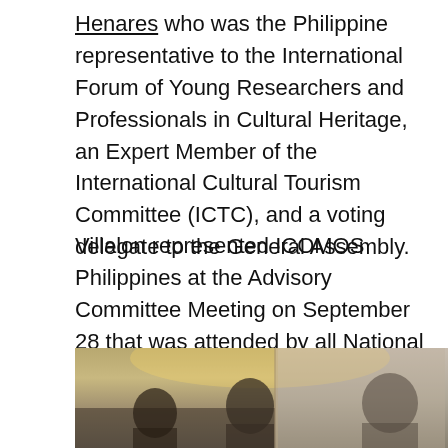Henares who was the Philippine representative to the International Forum of Young Researchers and Professionals in Cultural Heritage, an Expert Member of the International Cultural Tourism Committee (ICTC), and a voting delegate to the General Assembly.
Villalon represented ICOMOS Philippines at the Advisory Committee Meeting on September 28 that was attended by all National Committee Presidents. Issues discussed were the strengthening of National Committees and revitalization of dormant ones, formation of new National Committees. Also the relationship of ICOMOS to the World Heritage Committee as its primary cultural heritage advisory body was discussed.
[Figure (photo): A photograph showing people at what appears to be an indoor event or meeting, with a warm ceiling light visible. The image is cropped at the bottom of the page.]